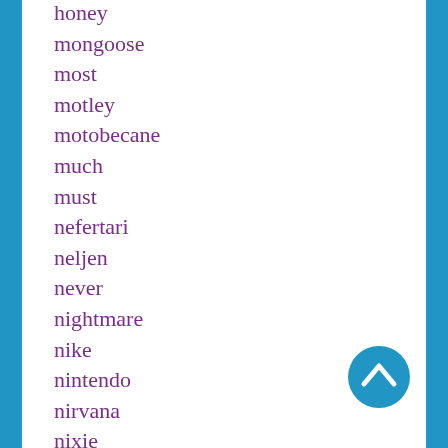honey
mongoose
most
motley
motobecane
much
must
nefertari
neljen
never
nightmare
nike
nintendo
nirvana
nixie
no-oil
nobsound
noid
nouveau
object
ohio
orchid